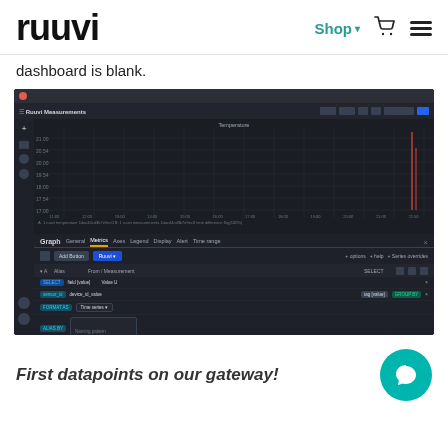ruuvi | Shop ▾ 🛒 ☰
dashboard is blank.
[Figure (screenshot): Screenshot of Ruuvi Measurements dashboard showing a dark-themed Grafana-like interface with a temperature time-series graph (mostly flat with a spike at the right), graph panel settings tabs (Graph, General, Metrics, Axes, Legend, Display, Alert, Time range), a query builder with Add Button and Ruuvi dropdown, and a table showing query rows with colored tags (SELECT, sensors_id, tags_measurements), a Time series dropdown, and an Add Query button.]
First datapoints on our gateway!